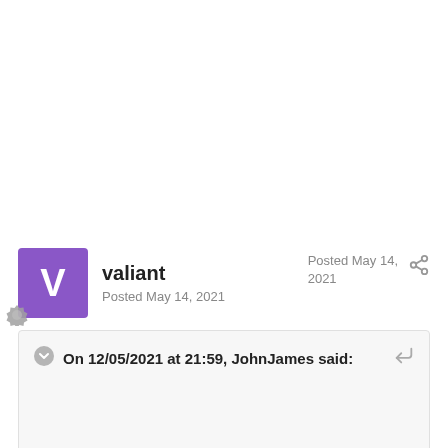valiant
Posted May 14, 2021
Posted May 14, 2021
On 12/05/2021 at 21:59, JohnJames said: